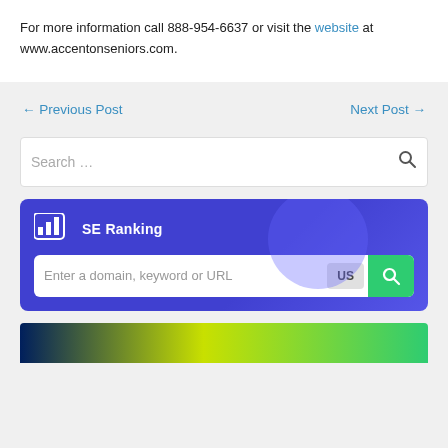For more information call 888-954-6637 or visit the website at www.accentonseniors.com.
← Previous Post    Next Post →
Search …
[Figure (screenshot): SE Ranking widget with a search bar prompting 'Enter a domain, keyword or URL' with a US flag button and green search button]
[Figure (screenshot): Bottom banner with dark blue, yellow-green gradient strip]